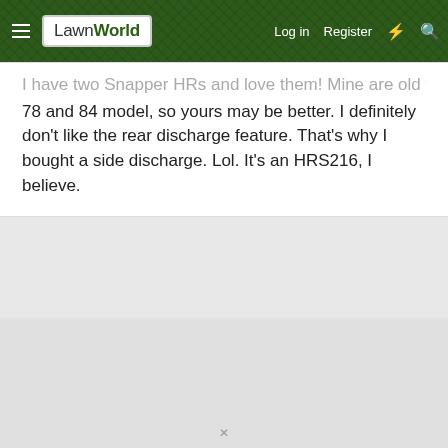LawnWorld | Log in | Register
I have two Snapper HRs and love them! Mine are old though, 78 and 84 model, so yours may be better. I definitely don't like the rear discharge feature. That's why I bought a side discharge. Lol. It's an HRS216, I believe.